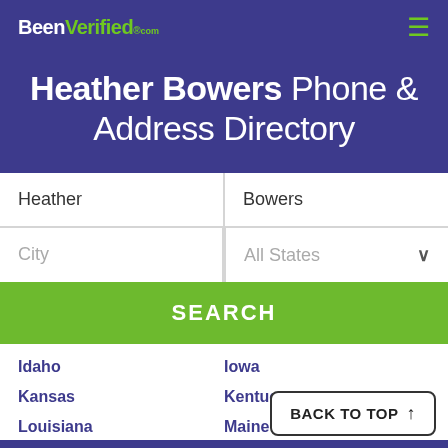BeenVerified.com
Heather Bowers Phone & Address Directory
Heather | Bowers
City | All States
SEARCH
Idaho
Iowa
Kansas
Kentucky
Louisiana
Maine
BACK TO TOP ↑